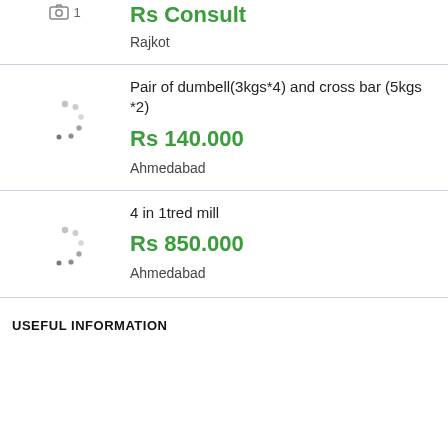Rs Consult
Rajkot
Pair of dumbell(3kgs*4) and cross bar (5kgs *2)
Rs 140.000
Ahmedabad
4 in 1tred mill
Rs 850.000
Ahmedabad
USEFUL INFORMATION